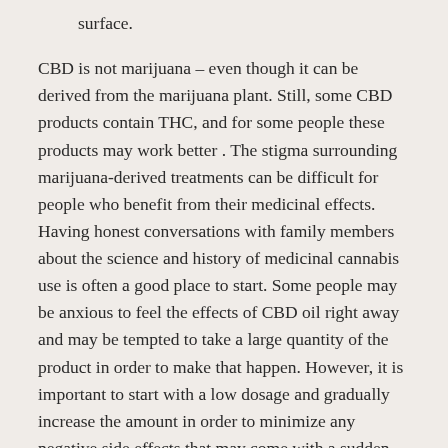surface.
CBD is not marijuana – even though it can be derived from the marijuana plant. Still, some CBD products contain THC, and for some people these products may work better . The stigma surrounding marijuana-derived treatments can be difficult for people who benefit from their medicinal effects. Having honest conversations with family members about the science and history of medicinal cannabis use is often a good place to start. Some people may be anxious to feel the effects of CBD oil right away and may be tempted to take a large quantity of the product in order to make that happen. However, it is important to start with a low dosage and gradually increase the amount in order to minimize any negative side effects that may come with a sudden high-quantity ingestion of CBD oil.